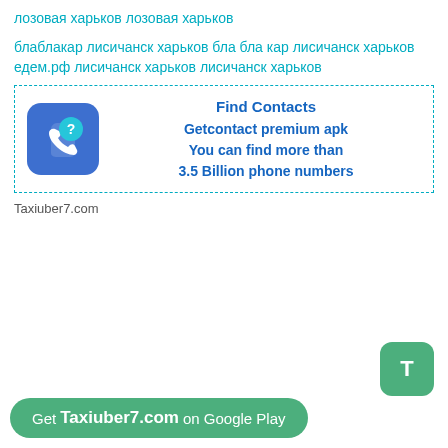лозовая харьков лозовая харьков
блаблакар лисичанск харьков бла бла кар лисичанск харьков едем.рф лисичанск харьков лисичанск харьков
[Figure (infographic): Advertisement box with dashed teal border. Left side: blue rounded square icon with phone and question mark. Right side: bold blue text reading 'Find Contacts / Getcontact premium apk / You can find more than / 3.5 Billion phone numbers']
Taxiuber7.com
[Figure (logo): Green rounded square button with white letter T]
Get Taxiuber7.com on Google Play